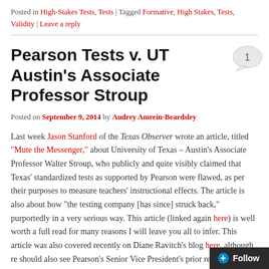Posted in High-Stakes Tests, Tests | Tagged Formative, High Stakes, Tests, Validity | Leave a reply
Pearson Tests v. UT Austin's Associate Professor Stroup
Posted on September 9, 2014 by Audrey Amrein-Beardsley
Last week Jason Stanford of the Texas Observer wrote an article, titled "Mute the Messenger," about University of Texas – Austin's Associate Professor Walter Stroup, who publicly and quite visibly claimed that Texas' standardized tests as supported by Pearson were flawed, as per their purposes to measure teachers' instructional effects. The article is also about how "the testing company [has since] struck back," purportedly in a very serious way. This article (linked again here) is well worth a full read for many reasons I will leave you all to infer. This article was also covered recently on Diane Ravitch's blog here, although re should also see Pearson's Senior Vice President's prior re